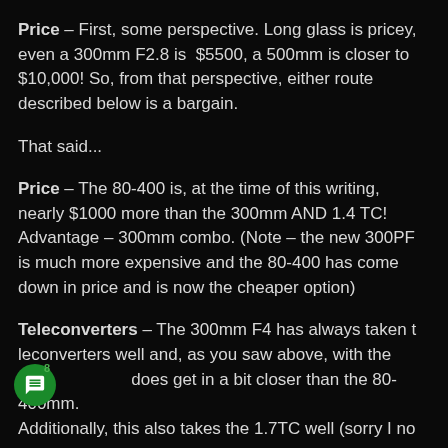Price – First, some perspective. Long glass is pricey, even a 300mm F2.8 is $5500, a 500mm is closer to $10,000! So, from that perspective, either route described below is a bargain.
That said...
Price – The 80-400 is, at the time of this writing, nearly $1000 more than the 300mm AND 1.4 TC! Advantage – 300mm combo. (Note – the new 300PF is much more expensive and the 80-400 has come down in price and is now the cheaper option)
Teleconverters – The 300mm F4 has always taken teleconverters well and, as you saw above, with the does get in a bit closer than the 80-400mm. Additionally, this also takes the 1.7TC well (sorry I no